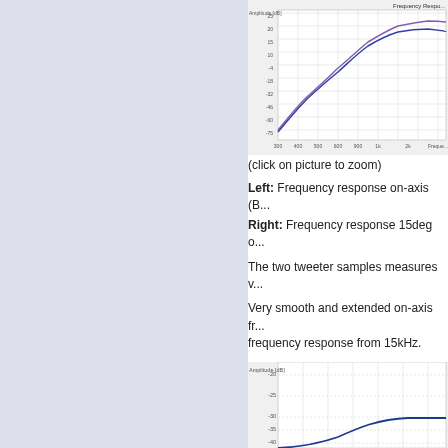[Figure (continuous-plot): Frequency response chart showing amplitude (dB) vs frequency. Two lines (purple/blue) showing on-axis and 15deg off-axis response, rising from about -70dB at 300Hz to about 0dB around 2-3kHz, then relatively flat to 20kHz. Chart title: Frequency Response. Y-axis: Amplitude [dB] from -70 to 25. X-axis: Frequency (Hz) from 300 to beyond 20k.]
(click on picture to zoom)
Left: Frequency response on-axis (B... Right: Frequency response 15deg o...
The two tweeter samples measures v...
Very smooth and extended on-axis fr... frequency response from 15kHz.
The bump at 2kHz and the dip at 3.5...
[Figure (continuous-plot): Amplitude [dB] chart (partial, cropped). Y-axis shows -20 to -40 dB range. A blue curve appears at bottom rising sharply. Background is light gray grid.]